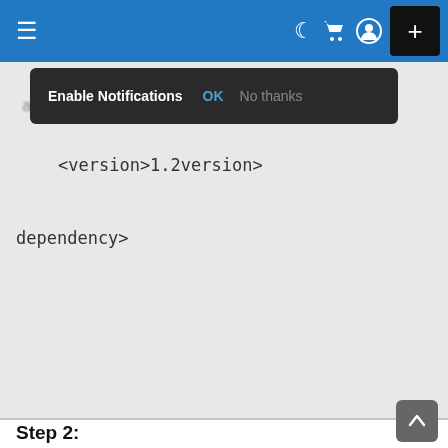[Figure (screenshot): Blue navigation bar with hamburger menu icon on left, and moon/cart/user icons plus black plus button on right]
[Figure (screenshot): Dark popup notification bar with text: Enable Notifications, OK, No thanks]
<version>1.2version>
dependency>
Step 2:
Add the JSTL tags in the JSP files (Here display-data.jsp file)